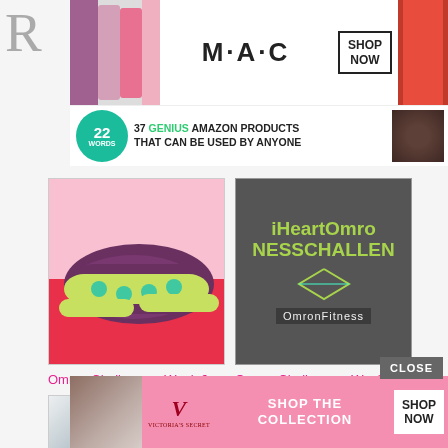R
[Figure (screenshot): MAC cosmetics advertisement banner with lipsticks and SHOP NOW button]
[Figure (screenshot): 22 Words article thumbnail: 37 GENIUS AMAZON PRODUCTS THAT CAN BE USED BY ANYONE]
[Figure (photo): Puma sneakers photo - purple and yellow athletic shoes on red background]
Omron Challenge – Week 6
[Figure (screenshot): iHeartOmron Fitness Challenge branded graphic with green text and diamond logo on dark background]
Omron Challenge – Week 5
[Figure (photo): Partial photo of exercise bike or fitness equipment]
[Figure (photo): Partial pink/light colored photo]
CLOSE
[Figure (screenshot): Victoria's Secret advertisement: SHOP THE COLLECTION with SHOP NOW button, pink background]